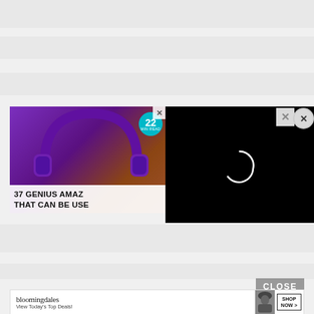[Figure (screenshot): Gray banner strip at top of webpage]
[Figure (screenshot): Gray banner strip mid page]
[Figure (screenshot): Advertisement card with purple headphones image, teal badge with '22', and headline text '37 GENIUS AMAZ... THAT CAN BE USE...']
[Figure (screenshot): Black video player overlay with loading spinner circle]
[Figure (screenshot): Gray banner strip lower page]
CLOSE
[Figure (screenshot): Bloomingdale's advertisement banner: 'bloomingdales / View Today's Top Deals!' with SHOP NOW > button]